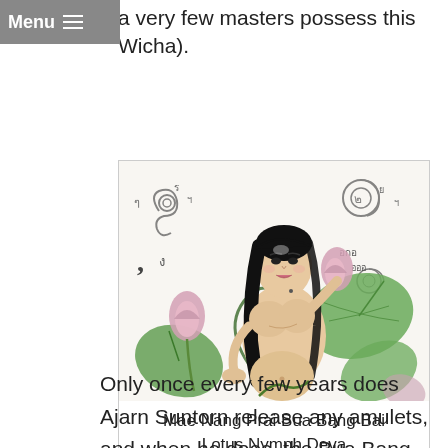Menu
a very few masters possess this Wicha).
[Figure (illustration): Traditional Thai illustration of Mae Nang Prai Bua Bang Bai, a Lotus Nymph Deva. A female figure with long black hair, surrounded by lotus flowers and large green leaves, with Thai sacred script (yant) symbols in the background.]
Mae Nang Prai Bua Bang Bai Lotus Nymph Deva
Only once every few years does Ajarn Suntorn release any amulets, and when he does, the Bua Bang